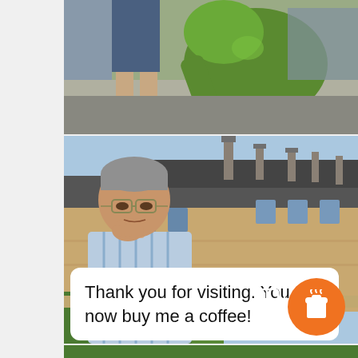[Figure (photo): Top photo showing person's legs in red socks and trainers next to a large green robot/dinosaur statue crouching on a street]
[Figure (photo): Middle photo showing a middle-aged man with glasses in a blue striped shirt, hand on chin in thoughtful pose, standing in front of a row of historic stone buildings with chimneys. Has Instagram multi-image icon in top right corner.]
Thank you for visiting. You can now buy me a coffee!
[Figure (illustration): Orange circular button with a white coffee cup/takeaway cup icon]